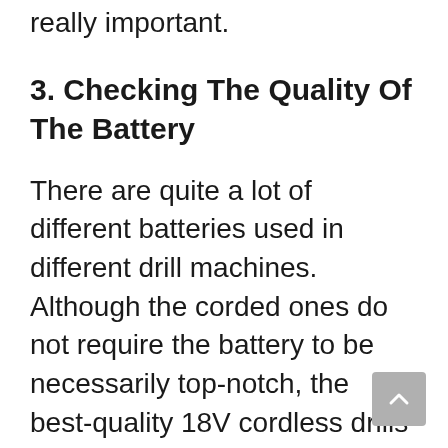really important.
3. Checking The Quality Of The Battery
There are quite a lot of different batteries used in different drill machines. Although the corded ones do not require the battery to be necessarily top-notch, the best-quality 18V cordless drills and 20V machines must have a decent quality battery. Because without it, the cordless drill will lose its